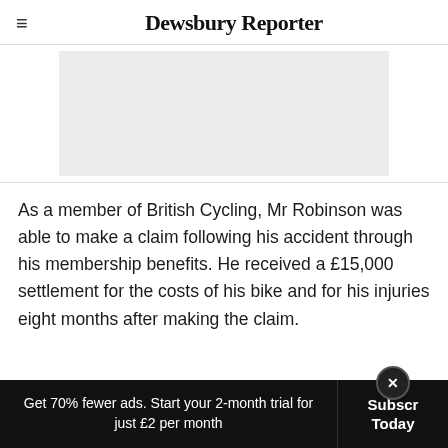Dewsbury Reporter
[Figure (other): Grey placeholder advertisement banner]
As a member of British Cycling, Mr Robinson was able to make a claim following his accident through his membership benefits. He received a £15,000 settlement for the costs of his bike and for his injuries eight months after making the claim.
Get 70% fewer ads. Start your 2-month trial for just £2 per month  Subscribe Today